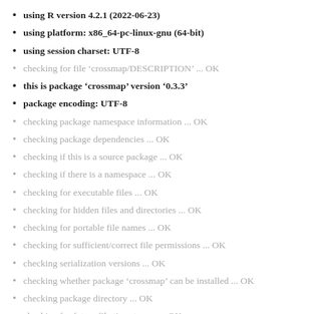using R version 4.2.1 (2022-06-23)
using platform: x86_64-pc-linux-gnu (64-bit)
using session charset: UTF-8
checking for file ‘crossmap/DESCRIPTION’ ... OK
this is package ‘crossmap’ version ‘0.3.3’
package encoding: UTF-8
checking package namespace information ... OK
checking package dependencies ... OK
checking if this is a source package ... OK
checking if there is a namespace ... OK
checking for executable files ... OK
checking for hidden files and directories ... OK
checking for portable file names ... OK
checking for sufficient/correct file permissions ... OK
checking serialization versions ... OK
checking whether package ‘crossmap’ can be installed ... OK
checking package directory ... OK
checking for future file timestamps ... OK
checking DESCRIPTION meta-information ... OK
checking top-level files ... OK
checking for left-over files ... OK
checking index information ... OK
checking package subdirectories ... OK
checking R files for non-ASCII characters ... OK